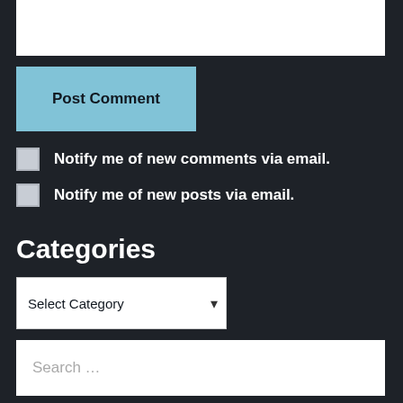[Figure (screenshot): White text input box at top of page]
Post Comment
Notify me of new comments via email.
Notify me of new posts via email.
Categories
Select Category
Search …
Search